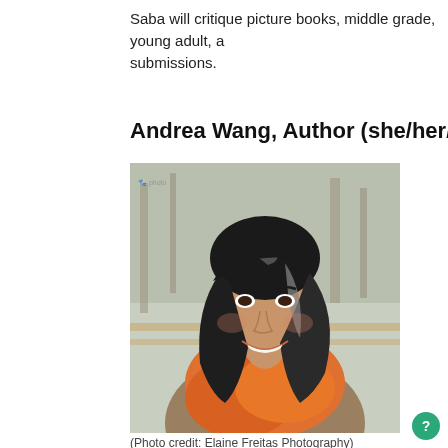Saba will critique picture books, middle grade, young adult, and submissions.
Andrea Wang, Author (she/her/hers)
[Figure (photo): Portrait photo of Andrea Wang, a woman with dark hair highlighted in gray, wearing an orange scarf and brown cardigan, smiling outdoors with trees in the background.]
(Photo credit: Elaine Freitas Photography)